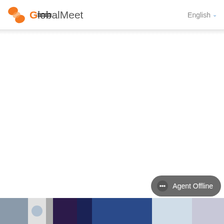GlobalMeet  English
Agent Offline
[Figure (screenshot): Bottom thumbnail strip showing multiple small video/image thumbnails]